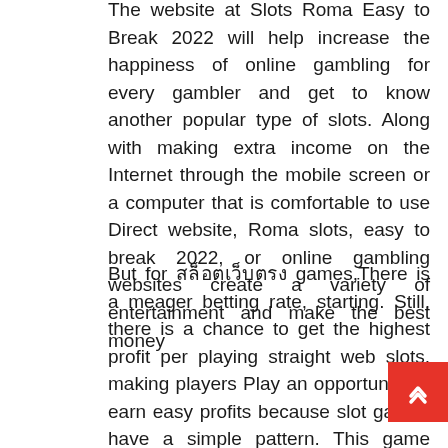The website at Slots Roma Easy to Break 2022 will help increase the happiness of online gambling for every gambler and get to know another popular type of slots. Along with making extra income on the Internet through the mobile screen or a computer that is comfortable to use Direct website, Roma slots, easy to break 2022, or online gambling websites create a variety of entertainment and make the best money
But for สล็อตเว็บตรง games,There is a meager betting rate, starting. Still, there is a chance to get the highest profit per playing straight web slots, making players Play an opportunity to earn easy profits because slot games have a simple pattern. This game uses random programs but has the highest probability getting paid.